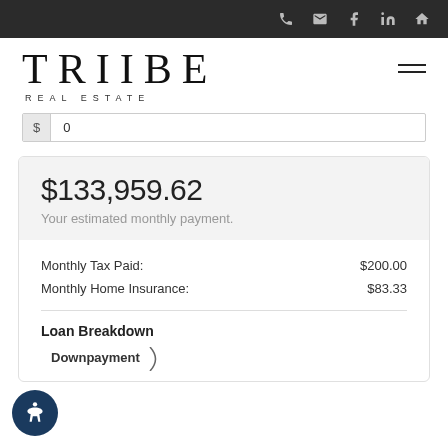TRIIBE REAL ESTATE — navigation bar with phone, email, facebook, linkedin, home icons
TRIIBE
REAL ESTATE
$ 0
$133,959.62
Your estimated monthly payment.
| Description | Amount |
| --- | --- |
| Monthly Tax Paid: | $200.00 |
| Monthly Home Insurance: | $83.33 |
Loan Breakdown
Downpayment